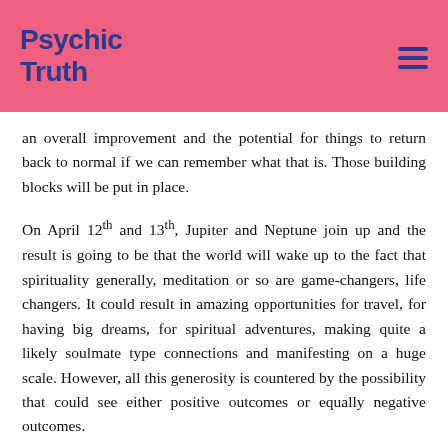Psychic Truth
an overall improvement and the potential for things to return back to normal if we can remember what that is. Those building blocks will be put in place.
On April 12th and 13th, Jupiter and Neptune join up and the result is going to be that the world will wake up to the fact that spirituality generally, meditation or so are game-changers, life changers. It could result in amazing opportunities for travel, for having big dreams, for spiritual adventures, making quite a likely soulmate type connections and manifesting on a huge scale. However, all this generosity is countered by the possibility that could see either positive outcomes or equally negative outcomes.
In what to do, Jupiter will...